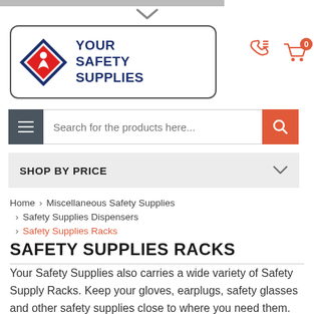[Figure (logo): Your Safety Supplies logo with red diamond shape and dark blue text reading YOUR SAFETY SUPPLIES inside a rounded rectangle border]
SHOP BY PRICE
Home > Miscellaneous Safety Supplies > Safety Supplies Dispensers > Safety Supplies Racks
SAFETY SUPPLIES RACKS
Your Safety Supplies also carries a wide variety of Safety Supply Racks. Keep your gloves, earplugs, safety glasses and other safety supplies close to where you need them. The more available the safety products, the more likely the items are to be